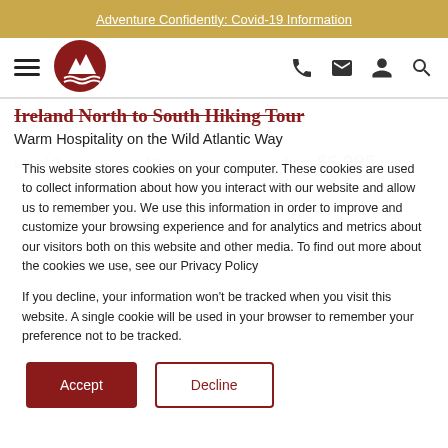Adventure Confidently: Covid-19 Information
[Figure (logo): Mountain and wave logo in red circle]
Ireland North to South Hiking Tour
Warm Hospitality on the Wild Atlantic Way
Level 3   12 days   from $6,995
This website stores cookies on your computer. These cookies are used to collect information about how you interact with our website and allow us to remember you. We use this information in order to improve and customize your browsing experience and for analytics and metrics about our visitors both on this website and other media. To find out more about the cookies we use, see our Privacy Policy
If you decline, your information won't be tracked when you visit this website. A single cookie will be used in your browser to remember your preference not to be tracked.